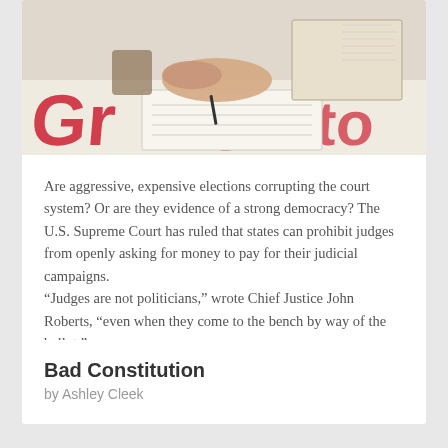[Figure (photo): A person's hands writing in a checkbook or ledger, with red printed text visible on papers beneath, and a book/binder open in the background.]
Are aggressive, expensive elections corrupting the court system? Or are they evidence of a strong democracy? The U.S. Supreme Court has ruled that states can prohibit judges from openly asking for money to pay for their judicial campaigns.
“Judges are not politicians,” wrote Chief Justice John Roberts, “even when they come to the bench by way of the ballot.”
Bad Constitution
by Ashley Cleek